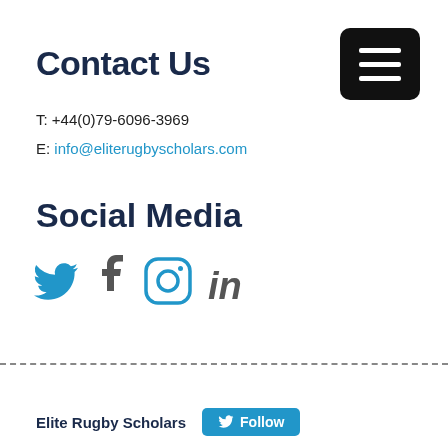Contact Us
T: +44(0)79-6096-3969
E: info@eliterugbyscholars.com
Social Media
[Figure (illustration): Social media icons: Twitter (bird), Facebook (f), Instagram (camera), LinkedIn (in)]
Elite Rugby Scholars  Follow